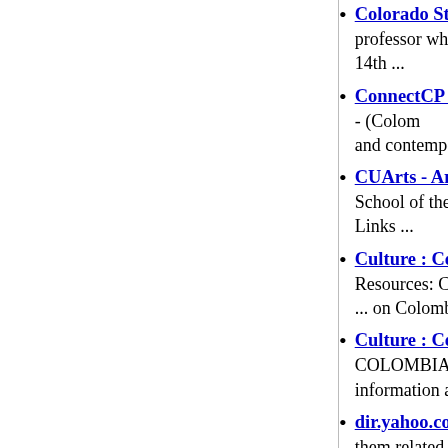Colorado State University - News & ... professor who is helping Colombia find 14th ...
ConnectCP | Display profile - (Colom and contemporary dance for 600 studen
CUArts - Arts Initiative @ Columbia School of the Arts. Center for Jazz Stuc Links ...
Culture : Colombia : Selected Intern Resources: Colombia . Portals to the W ... on Colombian visual arts. ...
Culture : Colombia : Selected Intern COLOMBIA (http://purl.oclc.org/corc/ information about electronic resources
dir.yahoo.com/arts/by_region/countr them related to Arts > Colombia ... Perf POPULAR SITES ...
dir.yahoo.com/Regional/Countries/Co sites and found them related to Colomb LISTINGS. Painting > Artists > Master
ECOFILMS - Rodos International F join the prestigious Rodos ecofilms fes Colombia and Sierra Leone. ...
HOMERO AGUILAR, COLOMBIA in Pasto, Colombia in 1953, Homero A of Visual Arts of Perpignan SIAPRE